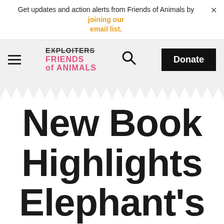Get updates and action alerts from Friends of Animals by joining our email list.
[Figure (logo): Friends of Animals logo with EXPLOITERS crossed out above FRIENDS of ANIMALS in pink]
New Book Highlights Elephant's